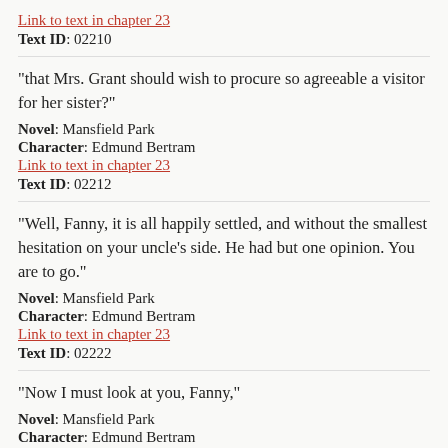Link to text in chapter 23
Text ID: 02210
"that Mrs. Grant should wish to procure so agreeable a visitor for her sister?"
Novel: Mansfield Park
Character: Edmund Bertram
Link to text in chapter 23
Text ID: 02212
"Well, Fanny, it is all happily settled, and without the smallest hesitation on your uncle's side. He had but one opinion. You are to go."
Novel: Mansfield Park
Character: Edmund Bertram
Link to text in chapter 23
Text ID: 02222
"Now I must look at you, Fanny,"
Novel: Mansfield Park
Character: Edmund Bertram